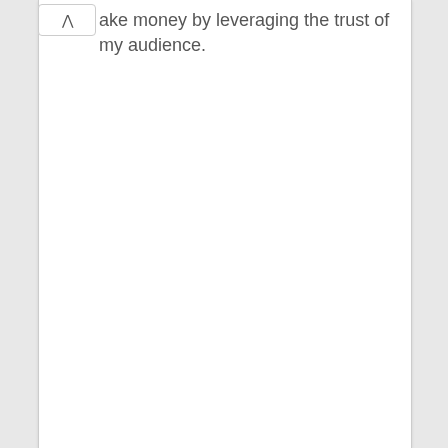ake money by leveraging the trust of my audience.